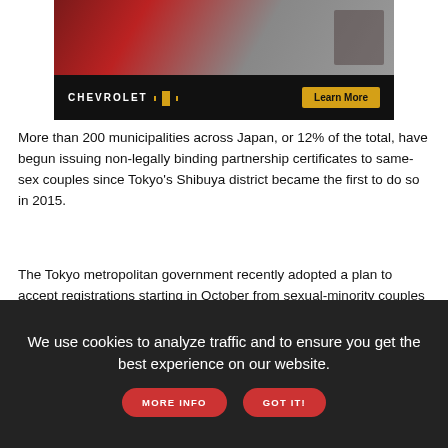[Figure (photo): Chevrolet advertisement showing a red SUV with 'CHEVROLET' logo, gold bowtie emblem, and a 'Learn More' button on a dark background]
More than 200 municipalities across Japan, or 12% of the total, have begun issuing non-legally binding partnership certificates to same-sex couples since Tokyo's Shibuya district became the first to do so in 2015.
The Tokyo metropolitan government recently adopted a plan to accept registrations starting in October from sexual-minority couples seeking certificates of their partnerships.
[Figure (photo): 2022 Chevrolet Equinox advertisement with text 'PROUD TO FIND NEW ROADS' on a forest background]
We use cookies to analyze traffic and to ensure you get the best experience on our website. MORE INFO GOT IT!